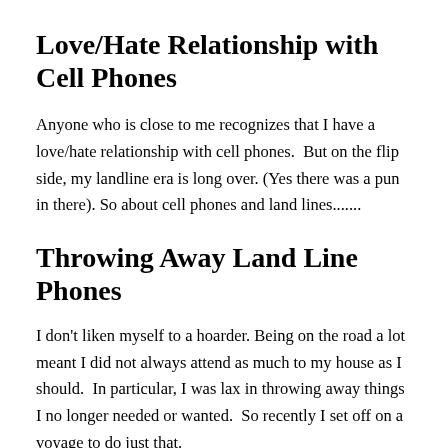Love/Hate Relationship with Cell Phones
Anyone who is close to me recognizes that I have a love/hate relationship with cell phones.  But on the flip side, my landline era is long over. (Yes there was a pun in there). So about cell phones and land lines.......
Throwing Away Land Line Phones
I don't liken myself to a hoarder. Being on the road a lot meant I did not always attend as much to my house as I should.  In particular, I was lax in throwing away things I no longer needed or wanted.  So recently I set off on a voyage to do just that.